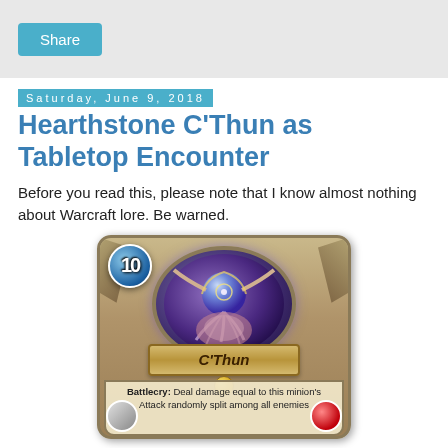Share
Saturday, June 9, 2018
Hearthstone C'Thun as Tabletop Encounter
Before you read this, please note that I know almost nothing about Warcraft lore. Be warned.
[Figure (illustration): Hearthstone card for C'Thun showing a mana cost of 10 in a blue gem top-left, a dark purple oval portrait depicting the C'Thun creature, a golden name banner reading 'C'Thun', a gold circle beneath the name, and card text reading 'Battlecry: Deal damage equal to this minion's Attack randomly split among all enemies']